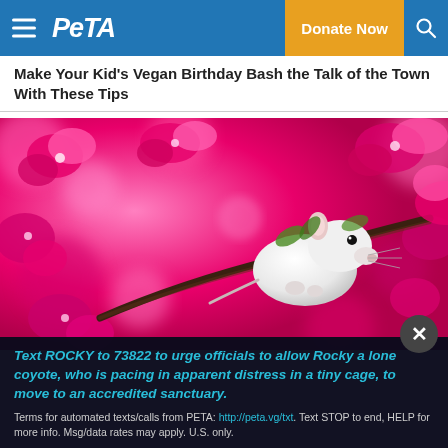PETA — Donate Now
Make Your Kid's Vegan Birthday Bash the Talk of the Town With These Tips
[Figure (photo): White rat perched on a branch surrounded by bright pink blossoms]
Text ROCKY to 73822 to urge officials to allow Rocky a lone coyote, who is pacing in apparent distress in a tiny cage, to move to an accredited sanctuary.
Terms for automated texts/calls from PETA: http://peta.vg/txt. Text STOP to end, HELP for more info. Msg/data rates may apply. U.S. only.